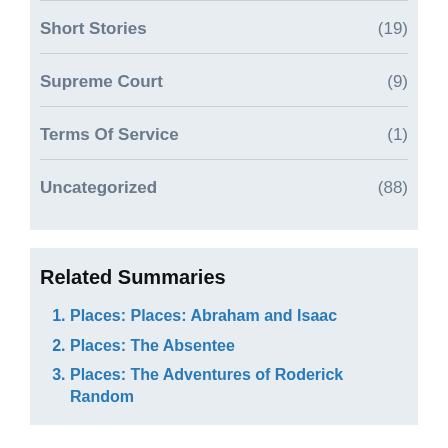Short Stories (19)
Supreme Court (9)
Terms Of Service (1)
Uncategorized (88)
Related Summaries
Places: Places: Abraham and Isaac
Places: The Absentee
Places: The Adventures of Roderick Random